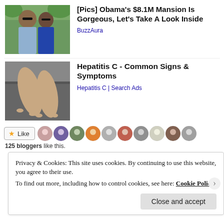[Figure (photo): Photo of Barack Obama and Michelle Obama outdoors with greenery in background]
[Pics] Obama's $8.1M Mansion Is Gorgeous, Let's Take A Look Inside
BuzzAura
[Figure (photo): Photo of person's feet/legs on dark bedding]
Hepatitis C - Common Signs & Symptoms
Hepatitis C | Search Ads
[Figure (photo): Social like button and avatar strip of bloggers]
125 bloggers like this.
Privacy & Cookies: This site uses cookies. By continuing to use this website, you agree to their use. To find out more, including how to control cookies, see here: Cookie Policy
Close and accept